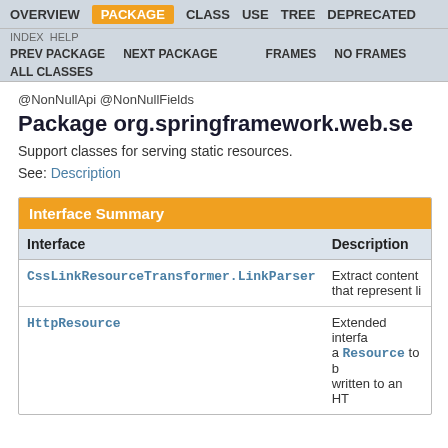OVERVIEW  PACKAGE  CLASS  USE  TREE  DEPRECATED
INDEX  HELP  PREV PACKAGE  NEXT PACKAGE  FRAMES  NO FRAMES  ALL CLASSES
@NonNullApi @NonNullFields
Package org.springframework.web.se
Support classes for serving static resources.
See: Description
| Interface | Description |
| --- | --- |
| CssLinkResourceTransformer.LinkParser | Extract content that represent li |
| HttpResource | Extended interfa a Resource to b written to an HT |